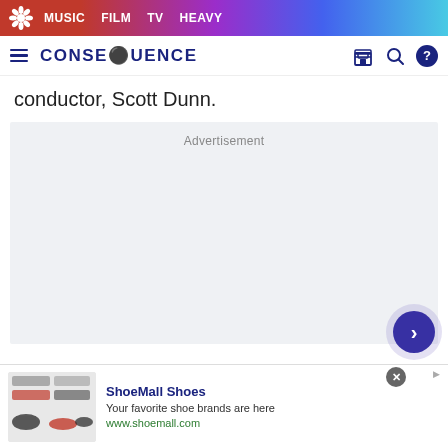MUSIC  FILM  TV  HEAVY
CONSEQUENCE
conductor, Scott Dunn.
[Figure (other): Advertisement placeholder block with light gray background and 'Advertisement' label]
[Figure (other): Bottom banner advertisement for ShoeMall Shoes: 'Your favorite shoe brands are here' www.shoemall.com, with shoe product images]